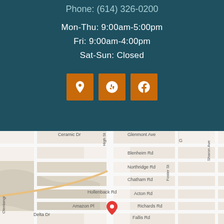Phone: (614) 326-0200
Mon-Thu: 9:00am-5:00pm
Fri: 9:00am-4:00pm
Sat-Sun: Closed
[Figure (infographic): Three orange square icon buttons: a location/map pin icon, a Yelp icon, and a Facebook icon]
[Figure (map): Google Maps street map showing location pin near N High St and Fallis Rd area in Columbus OH, with streets labeled: Ceramic Dr, Glenmont Ave, Blenheim Rd, Northridge Rd, Chatham Rd, Hollenback Rd, Acton Rd, Amazon Pl, Richards Rd, Foster St, Sharon Ave, Delta Dr, Fallis Rd]